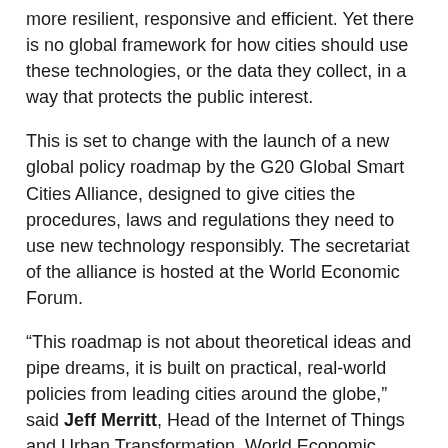more resilient, responsive and efficient. Yet there is no global framework for how cities should use these technologies, or the data they collect, in a way that protects the public interest.
This is set to change with the launch of a new global policy roadmap by the G20 Global Smart Cities Alliance, designed to give cities the procedures, laws and regulations they need to use new technology responsibly. The secretariat of the alliance is hosted at the World Economic Forum.
“This roadmap is not about theoretical ideas and pipe dreams, it is built on practical, real-world policies from leading cities around the globe,” said Jeff Merritt, Head of the Internet of Things and Urban Transformation, World Economic Forum. “City governments are on the frontline of a global crisis and need to be able to act quickly and decisively to curtail this pandemic and set course for their economic recovery. Technology is an